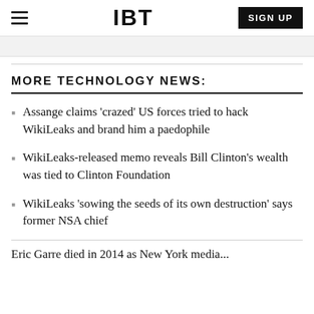IBT  SIGN UP
MORE TECHNOLOGY NEWS:
Assange claims 'crazed' US forces tried to hack WikiLeaks and brand him a paedophile
WikiLeaks-released memo reveals Bill Clinton's wealth was tied to Clinton Foundation
WikiLeaks 'sowing the seeds of its own destruction' says former NSA chief
Eric Garre died in 2014 as New York media...